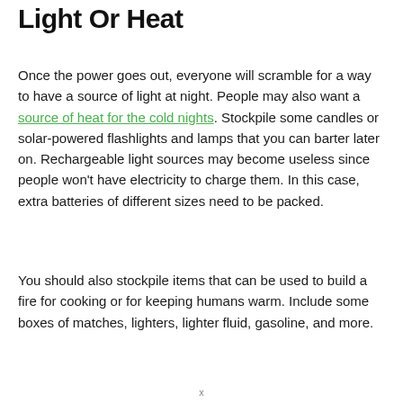Light Or Heat
Once the power goes out, everyone will scramble for a way to have a source of light at night. People may also want a source of heat for the cold nights. Stockpile some candles or solar-powered flashlights and lamps that you can barter later on. Rechargeable light sources may become useless since people won't have electricity to charge them. In this case, extra batteries of different sizes need to be packed.
You should also stockpile items that can be used to build a fire for cooking or for keeping humans warm. Include some boxes of matches, lighters, lighter fluid, gasoline, and more.
x